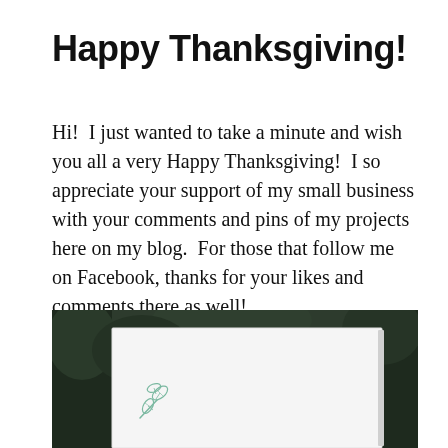Happy Thanksgiving!
Hi!  I just wanted to take a minute and wish you all a very Happy Thanksgiving!  I so appreciate your support of my small business with your comments and pins of my projects here on my blog.  For those that follow me on Facebook, thanks for your likes and comments there as well!
[Figure (photo): A white greeting card or notecard with a small teal/green leaf stamp in the lower-left corner, photographed outdoors against a blurred dark green forest background.]